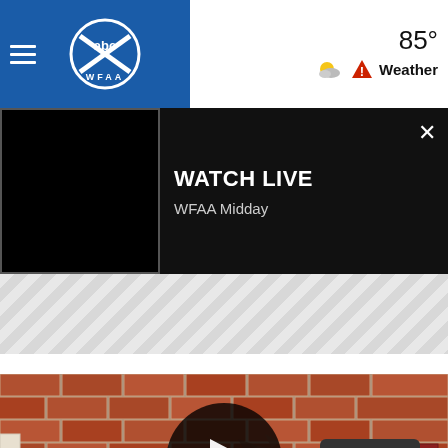[Figure (screenshot): WFAA ABC news website navigation bar with hamburger menu, WFAA ABC logo on blue background, 85° temperature, weather icon with alert triangle, and Weather label]
[Figure (screenshot): Watch Live banner with black video thumbnail, WATCH LIVE title, WFAA Midday subtitle, and X close button]
[Figure (screenshot): Gray diagonal striped advertisement/banner area]
[Figure (photo): News video thumbnail showing a dark pickup truck crashed into a brick building wall, with a person walking nearby, overlaid with a large play button circle]